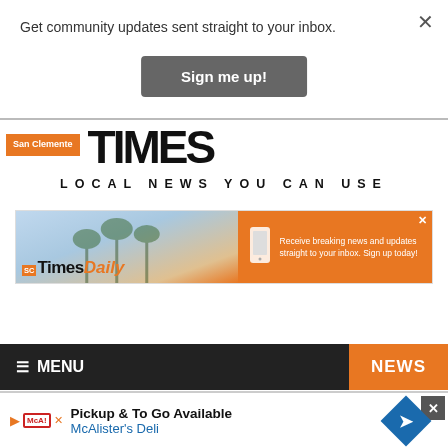Get community updates sent straight to your inbox.
Sign me up!
[Figure (logo): San Clemente Times newspaper logo with orange San Clemente badge and large bold black masthead letters]
LOCAL NEWS YOU CAN USE
[Figure (screenshot): SC Times Daily advertisement banner with orange branding, palm trees, and phone icon. Text: Receive breaking news and updates straight to your inbox. Sign up today!]
≡ MENU
NEWS
[Figure (screenshot): McAlister's Deli bottom advertisement: Pickup & To Go Available, McAlister's Deli, with play button, logo, and blue diamond arrow icon]